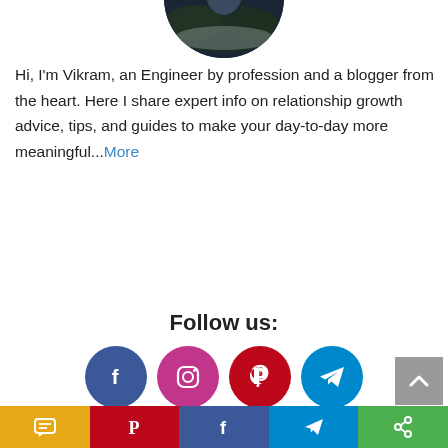[Figure (photo): Circular profile photo of Vikram, partially cropped at top, showing a person outdoors]
Hi, I'm Vikram, an Engineer by profession and a blogger from the heart. Here I share expert info on relationship growth advice, tips, and guides to make your day-to-day more meaningful...More
Follow us:
[Figure (illustration): Row of four social media icons: Facebook (blue circle), Instagram (purple/pink gradient circle), Pinterest (red circle), Telegram (cyan circle)]
[Figure (illustration): Back-to-top arrow button (gray square with up chevron)]
[Figure (illustration): Bottom share bar with SMS (yellow), Pinterest (red), Facebook (blue), Telegram (blue), Share (green) buttons]